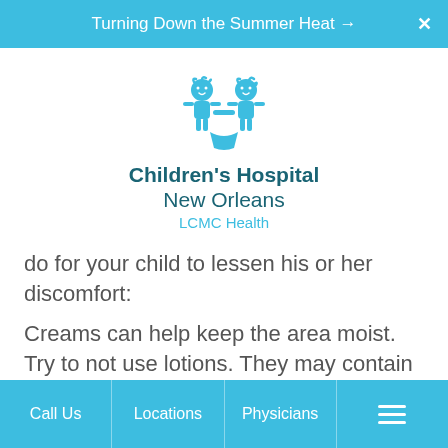Turning Down the Summer Heat →
[Figure (logo): Children's Hospital New Orleans LCMC Health logo with two cartoon children figures in teal]
do for your child to lessen his or her discomfort:
Creams can help keep the area moist. Try to not use lotions. They may contain alcohol, which can dry the skin. Also stay away from creams or lotions that contain lanolin, which can make the itching worse. And don't use
Call Us  Locations  Physicians